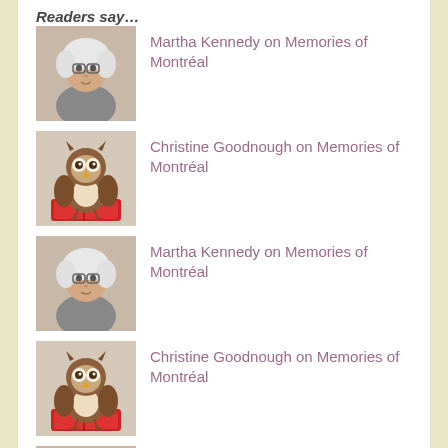Readers say…
Martha Kennedy on Memories of Montréal
Christine Goodnough on Memories of Montréal
Martha Kennedy on Memories of Montréal
Christine Goodnough on Memories of Montréal
Martha Kennedy on Memories of Montréal
Christine Goodnough on Memories of Montréal